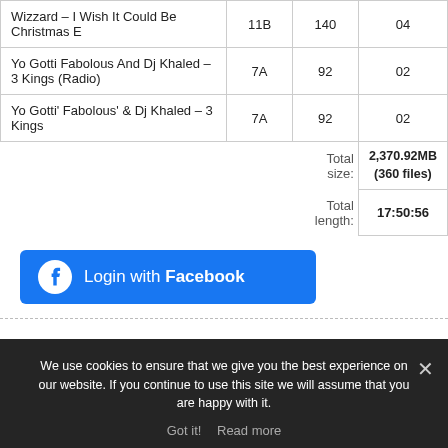| Track | Key | BPM |  |
| --- | --- | --- | --- |
| Wizzard – I Wish It Could Be Christmas E | 11B | 140 | 04 |
| Yo Gotti Fabolous And Dj Khaled – 3 Kings (Radio) | 7A | 92 | 02 |
| Yo Gotti' Fabolous' & Dj Khaled – 3 Kings | 7A | 92 | 02 |
| Total size: |  |  | 2,370.92MB (360 files) |
| Total length: |  |  | 17:50:56 |
[Figure (other): Blue Facebook login button with Facebook logo icon and text 'Login with Facebook']
We use cookies to ensure that we give you the best experience on our website. If you continue to use this site we will assume that you are happy with it.
Got it!   Read more